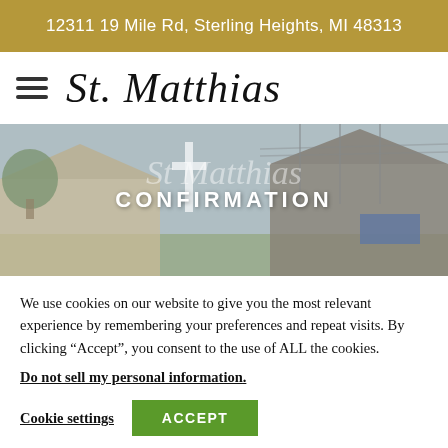12311 19 Mile Rd, Sterling Heights, MI 48313
St. Matthias
[Figure (photo): Church exterior with St. Matthias sign and cross; overlay text reads CONFIRMATION]
We use cookies on our website to give you the most relevant experience by remembering your preferences and repeat visits. By clicking “Accept”, you consent to the use of ALL the cookies.
Do not sell my personal information.
Cookie settings    ACCEPT